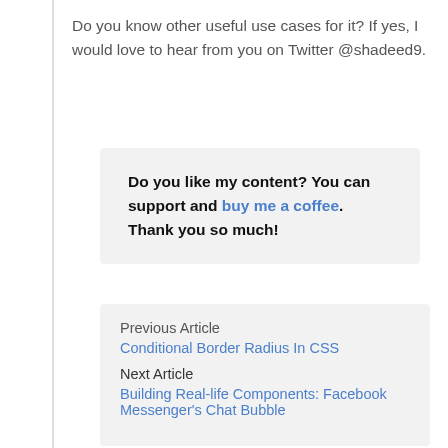Do you know other useful use cases for it? If yes, I would love to hear from you on Twitter @shadeed9.
Do you like my content? You can support and buy me a coffee. Thank you so much!
Previous Article
Conditional Border Radius In CSS
Next Article
Building Real-life Components: Facebook Messenger's Chat Bubble